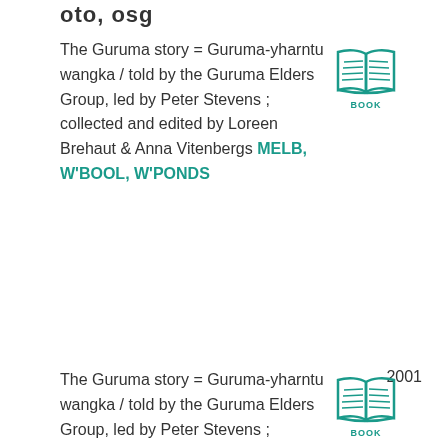oto, osg
The Guruma story = Guruma-yharntu wangka / told by the Guruma Elders Group, led by Peter Stevens ; collected and edited by Loreen Brehaut & Anna Vitenbergs MELB, W'BOOL, W'PONDS
[Figure (illustration): Book icon with teal outline and lines representing pages, labelled BOOK]
2001
The Guruma story = Guruma-yharntu wangka / told by the Guruma Elders Group, led by Peter Stevens ;
[Figure (illustration): Book icon with teal outline and lines representing pages, labelled BOOK]